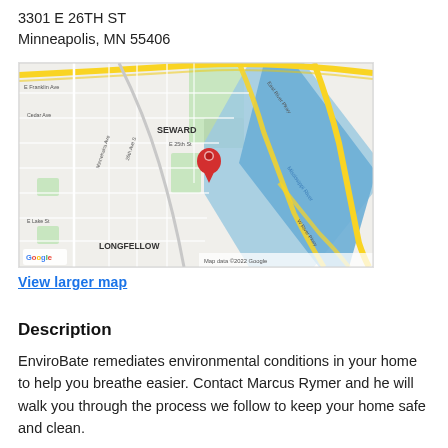3301 E 26TH ST
Minneapolis, MN 55406
[Figure (map): Google Maps screenshot showing the Seward neighborhood in Minneapolis, MN near 3301 E 26th St. Features East River Pkwy, Mississippi River, Minnehaha Ave S, 26th Ave S, Cedar Ave, E Franklin Ave, E Lake St, E 25th St, Longfellow neighborhood label, and a red map pin marker. Map data ©2022 Google.]
View larger map
Description
EnviroBate remediates environmental conditions in your home to help you breathe easier. Contact Marcus Rymer and he will walk you through the process we follow to keep your home safe and clean.